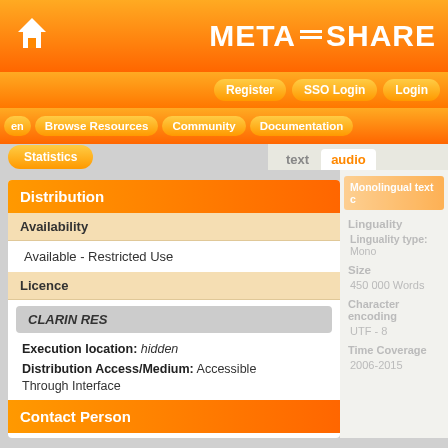META=SHARE
Register  SSO Login  Login
en  Browse Resources  Community  Documentation  Statistics
Distribution
Availability
Available - Restricted Use
Licence
CLARIN RES
Execution location: hidden
Distribution Access/Medium: Accessible Through Interface
Contact Person
Pärtel Lippus
Monolingual text c
Linguality
Linguality type: Mono
Size
450 000 Words
Character encoding
UTF - 8
Time Coverage
2006-2015